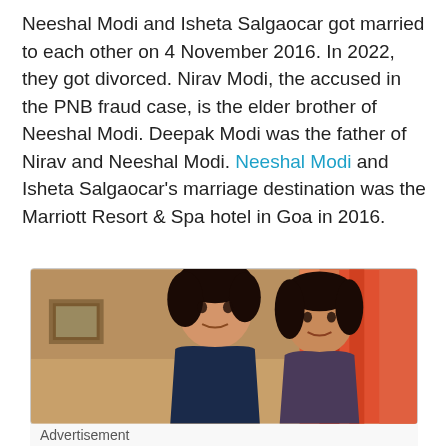Neeshal Modi and Isheta Salgaocar got married to each other on 4 November 2016. In 2022, they got divorced. Nirav Modi, the accused in the PNB fraud case, is the elder brother of Neeshal Modi. Deepak Modi was the father of Nirav and Neeshal Modi. Neeshal Modi and Isheta Salgaocar's marriage destination was the Marriott Resort & Spa hotel in Goa in 2016.
[Figure (photo): Photo of a young man and a young woman posing together indoors, with orange/red curtains visible in the background and a framed picture on the wall to the left.]
Advertisement